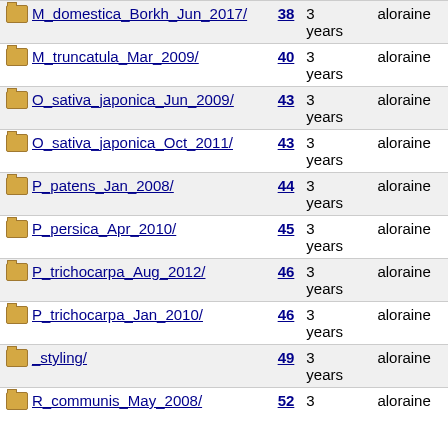| Name | Size | Last Modified | User |
| --- | --- | --- | --- |
| M_domestica_Borkh_Jun_2017/ | 38 | 3 years | aloraine |
| M_truncatula_Mar_2009/ | 40 | 3 years | aloraine |
| O_sativa_japonica_Jun_2009/ | 43 | 3 years | aloraine |
| O_sativa_japonica_Oct_2011/ | 43 | 3 years | aloraine |
| P_patens_Jan_2008/ | 44 | 3 years | aloraine |
| P_persica_Apr_2010/ | 45 | 3 years | aloraine |
| P_trichocarpa_Aug_2012/ | 46 | 3 years | aloraine |
| P_trichocarpa_Jan_2010/ | 46 | 3 years | aloraine |
| _styling/ | 49 | 3 years | aloraine |
| R_communis_May_2008/ | 52 | 3 | aloraine |